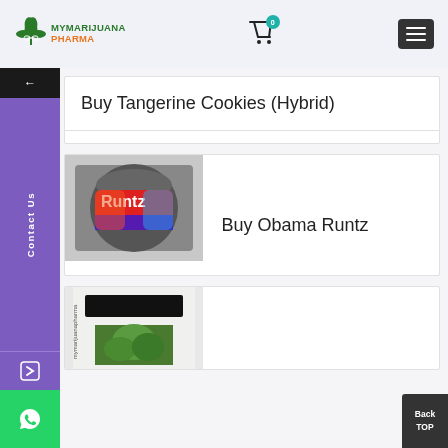MYMARIJUANA PHARMA — cart icon with badge 0 — hamburger menu
[Figure (screenshot): Side navigation bar with back arrow, Contact Us label in purple, arrow icon, and WhatsApp icon in green]
Buy Tangerine Cookies (Hybrid)
[Figure (photo): Jar of marijuana product labeled Runtz with colorful graffiti-style design]
Buy Obama Runtz
[Figure (photo): Partially visible marijuana product packaging with mymarijuanapharma branding]
Back TOP